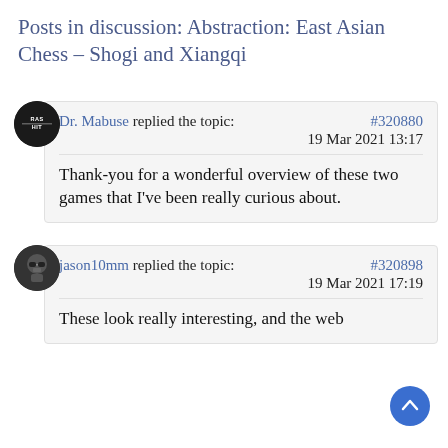Posts in discussion: Abstraction: East Asian Chess – Shogi and Xiangqi
Dr. Mabuse replied the topic: #320880
19 Mar 2021 13:17
Thank-you for a wonderful overview of these two games that I've been really curious about.
jason10mm replied the topic: #320898
19 Mar 2021 17:19
These look really interesting, and the web